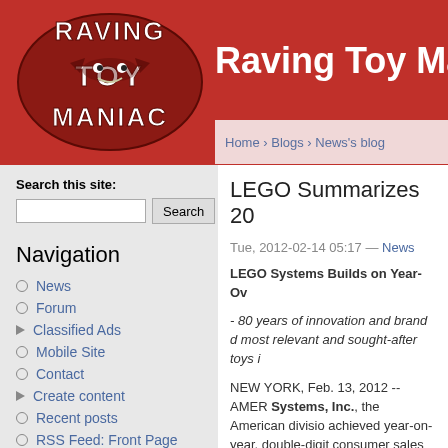[Figure (logo): Raving Toy Maniac logo - oval red background with white text and cartoon creature]
Raving Toy Maniac
Home › Blogs › News's blog
Search this site:
Navigation
News
Forum
Classified Ads
Mobile Site
Contact
Create content
Recent posts
RSS Feed: Front Page
RSS Feed: News Posts
LEGO Summarizes 20
Tue, 2012-02-14 05:17 — News
LEGO Systems Builds on Year-Ov
- 80 years of innovation and brand d most relevant and sought-after toys i
NEW YORK, Feb. 13, 2012 -- AMER Systems, Inc., the American division achieved year-on-year, double-digit consumer sales and market share in
2011 LEGO Systems U.S. Year-end
Consumer Panel)